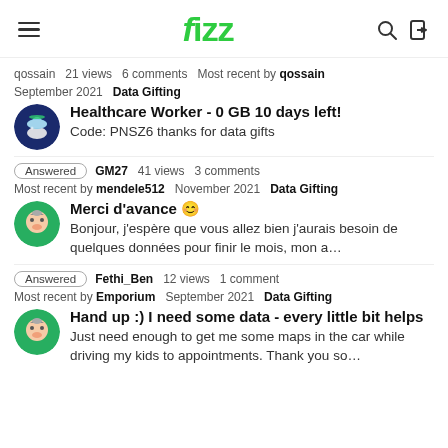fizz
qossain  21 views  6 comments  Most recent by qossain
September 2021  Data Gifting
Healthcare Worker - 0 GB 10 days left!
Code: PNSZ6 thanks for data gifts
Answered  GM27  41 views  3 comments
Most recent by mendele512  November 2021  Data Gifting
Merci d'avance 😊
Bonjour, j'espère que vous allez bien j'aurais besoin de quelques données pour finir le mois, mon a…
Answered  Fethi_Ben  12 views  1 comment
Most recent by Emporium  September 2021  Data Gifting
Hand up :) I need some data - every little bit helps
Just need enough to get me some maps in the car while driving my kids to appointments. Thank you so…